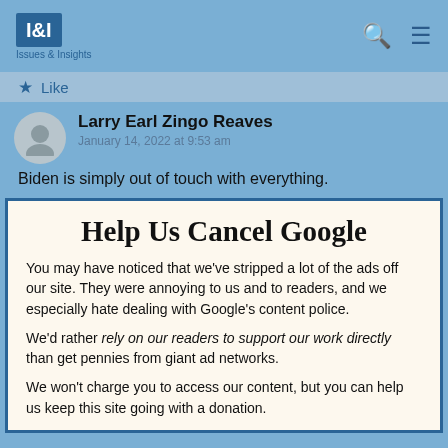Issues & Insights
Like
Larry Earl Zingo Reaves
January 14, 2022 at 9:53 am
Biden is simply out of touch with everything.
Help Us Cancel Google
You may have noticed that we've stripped a lot of the ads off our site. They were annoying to us and to readers, and we especially hate dealing with Google's content police.
We'd rather rely on our readers to support our work directly than get pennies from giant ad networks.
We won't charge you to access our content, but you can help us keep this site going with a donation.